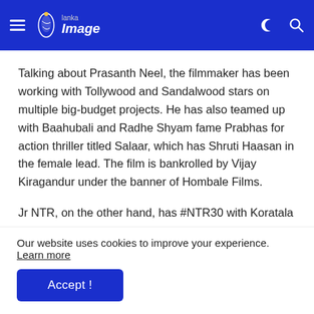lanka Image
Talking about Prasanth Neel, the filmmaker has been working with Tollywood and Sandalwood stars on multiple big-budget projects. He has also teamed up with Baahubali and Radhe Shyam fame Prabhas for action thriller titled Salaar, which has Shruti Haasan in the female lead. The film is bankrolled by Vijay Kiragandur under the banner of Hombale Films.
Jr NTR, on the other hand, has #NTR30 with Koratala Siva in his pipeline. Ahead of NTR's birthday, makers released an intense poster featuring the hero wielding machetes
Our website uses cookies to improve your experience. Learn more
Accept !